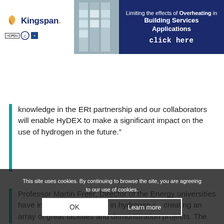[Figure (other): Kingspan advertisement banner: 'Limiting the effects of Overheating in Building Services Applications - click here' with Kingspan logo and CPD badges on left, building photo in center, dark blue background on right]
[Figure (logo): MMC Online logo with hamburger menu, LinkedIn and Twitter icons on teal navigation bar]
knowledge in the ERt partnership and our collaborators will enable HyDEX to make a significant impact on the use of hydrogen in the future.”
Professor Martin Freer, Director of the Energy universities have invested significantly in hydrogen r... creating an array of great facilities and demonstration projects. The
This site uses cookies. By continuing to browse the site, you are agreeing to our use of cookies.